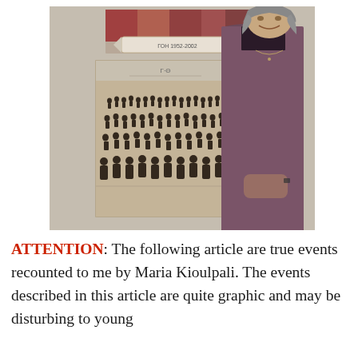[Figure (photo): An elderly woman with gray hair smiling, standing in front of a wall with two photographs behind her — an old black-and-white group photo and what appears to be a colorful group photo above it. The woman is wearing a dark mauve/purple top and has her hands clasped in front of her.]
ATTENTION: The following article are true events recounted to me by Maria Kioulpali. The events described in this article are quite graphic and may be disturbing to young